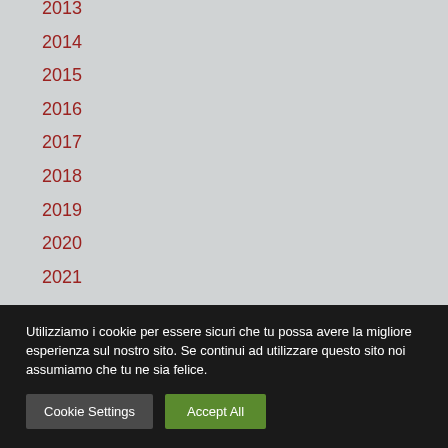2013
2014
2015
2016
2017
2018
2019
2020
2021
Utilizziamo i cookie per essere sicuri che tu possa avere la migliore esperienza sul nostro sito. Se continui ad utilizzare questo sito noi assumiamo che tu ne sia felice.
Cookie Settings
Accept All